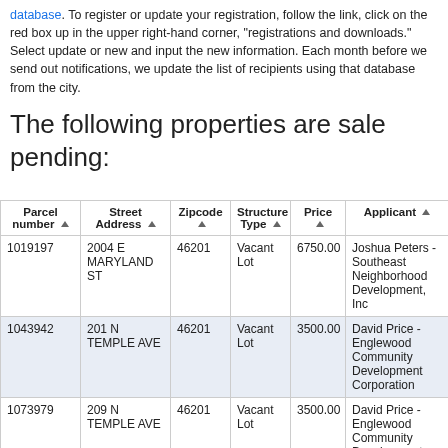click on the red box up in the upper right-hand corner, "registrations and downloads." Select update or new and input the new information. Each month before we send out notifications, we update the list of recipients using that database from the city.
The following properties are sale pending:
| Parcel number | Street Address | Zipcode | Structure Type | Price | Applicant |
| --- | --- | --- | --- | --- | --- |
| 1019197 | 2004 E MARYLAND ST | 46201 | Vacant Lot | 6750.00 | Joshua Peters - Southeast Neighborhood Development, Inc |
| 1043942 | 201 N TEMPLE AVE | 46201 | Vacant Lot | 3500.00 | David Price - Englewood Community Development Corporation |
| 1073979 | 209 N TEMPLE AVE | 46201 | Vacant Lot | 3500.00 | David Price - Englewood Community Development Corporation |